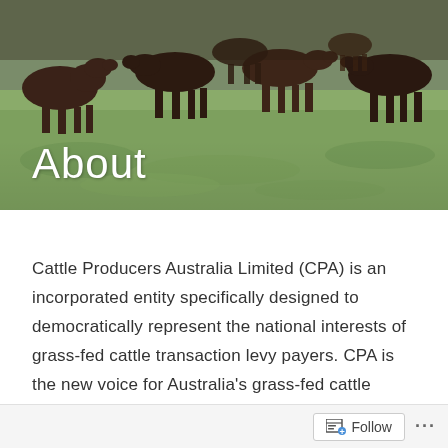[Figure (photo): Overhead/wide shot of dark brown and black cattle grazing on a green grass field, viewed from a low angle. Multiple cattle visible across the frame.]
About
Cattle Producers Australia Limited (CPA) is an incorporated entity specifically designed to democratically represent the national interests of grass-fed cattle transaction levy payers. CPA is the new voice for Australia's grass-fed cattle producers. All grass-fed cattle transaction levy payers will have a say in how their levies are spent and will be entitled to free